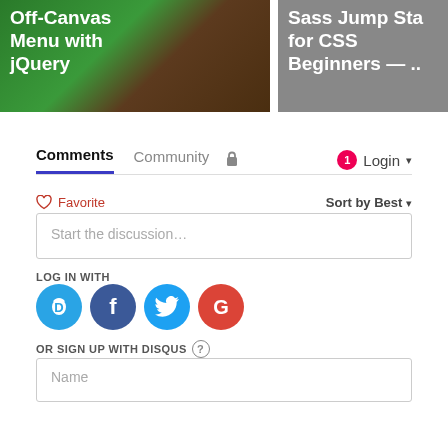[Figure (screenshot): Two article cards partially visible at top: left card shows 'Off-Canvas Menu with jQuery' on green/brown background; right card shows 'Sass Jump Sta for CSS Beginners — ..' on gray background]
Comments  Community  [lock icon]  [1] Login ▾
♡ Favorite   Sort by Best ▾
Start the discussion…
LOG IN WITH
[Figure (logo): Four social login icons: Disqus (D, light blue), Facebook (f, dark blue), Twitter (bird, light blue), Google (G, red)]
OR SIGN UP WITH DISQUS ?
Name